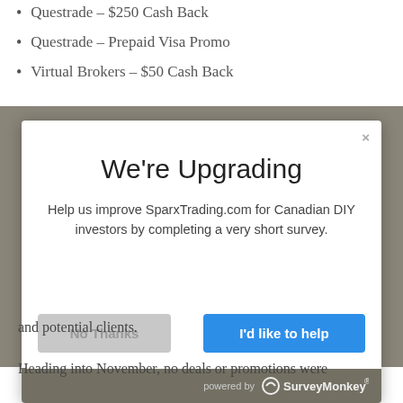Questrade – $250 Cash Back
Questrade – Prepaid Visa Promo
Virtual Brokers – $50 Cash Back
[Figure (screenshot): Modal dialog titled 'We're Upgrading' asking users to help improve SparxTrading.com for Canadian DIY investors by completing a short survey, with 'No Thanks' and 'I'd like to help' buttons, powered by SurveyMonkey]
and potential clients.
Heading into November, no deals or promotions were